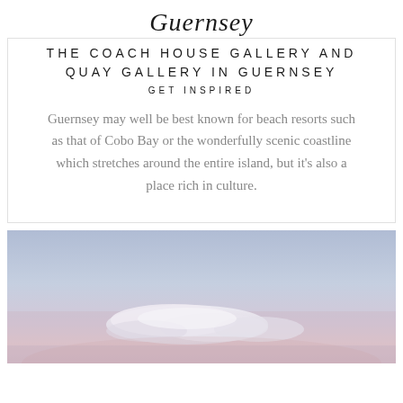Guernsey
THE COACH HOUSE GALLERY AND QUAY GALLERY IN GUERNSEY
GET INSPIRED
Guernsey may well be best known for beach resorts such as that of Cobo Bay or the wonderfully scenic coastline which stretches around the entire island, but it’s also a place rich in culture.
[Figure (photo): Photograph of a scenic sky with soft pink and blue hues, white clouds, representing a coastal sunset or dusk scene.]